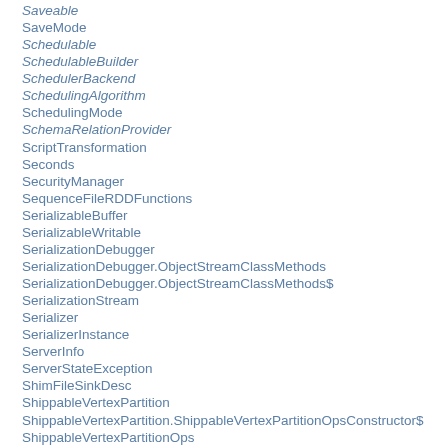Saveable
SaveMode
Schedulable
SchedulableBuilder
SchedulerBackend
SchedulingAlgorithm
SchedulingMode
SchemaRelationProvider
ScriptTransformation
Seconds
SecurityManager
SequenceFileRDDFunctions
SerializableBuffer
SerializableWritable
SerializationDebugger
SerializationDebugger.ObjectStreamClassMethods
SerializationDebugger.ObjectStreamClassMethods$
SerializationStream
Serializer
SerializerInstance
ServerInfo
ServerStateException
ShimFileSinkDesc
ShippableVertexPartition
ShippableVertexPartition.ShippableVertexPartitionOpsConstructor$
ShippableVertexPartitionOps
SHORT
ShortColumnAccessor
ShortColumnBuilder
ShortColumnStats
ShortestPaths
ShortType
ShuffleBlockTransformerIterator